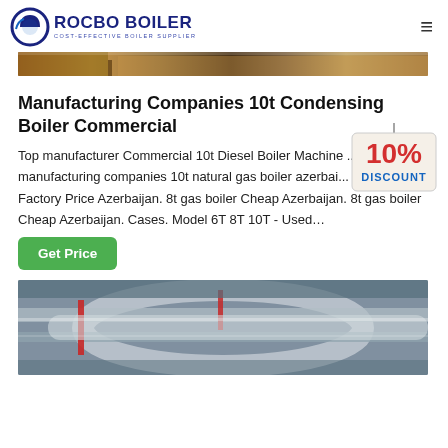ROCBO BOILER - COST-EFFECTIVE BOILER SUPPLIER
[Figure (photo): Partial top banner image of industrial boiler equipment]
Manufacturing Companies 10t Condensing Boiler Commercial
Top manufacturer Commercial 10t Diesel Boiler Machine ... manufacturing companies 10t natural gas boiler azerbai... Boiler Factory Price Azerbaijan. 8t gas boiler Cheap Azerbaijan. 8t gas boiler Cheap Azerbaijan. Cases. Model 6T 8T 10T - Used…
[Figure (infographic): 10% DISCOUNT badge/sticker graphic]
Get Price
[Figure (photo): Industrial pipe system with silver insulated pipes and red pipes in a factory or plant ceiling]